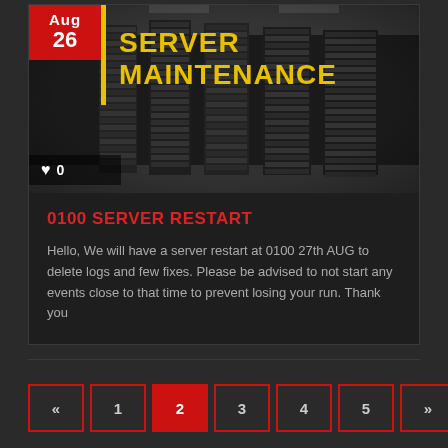[Figure (screenshot): Server rack room photo in black and white/dark tones, showing rows of server racks in a data center]
SERVER MAINTENANCE
♥ 0
0100 SERVER RESTART
Hello, We will have a server restart at 0100 27th AUG to delete logs and few fixes. Please be advised to not start any events close to that time to prevent losing your run. Thank you
« 1 2 3 4 5 »